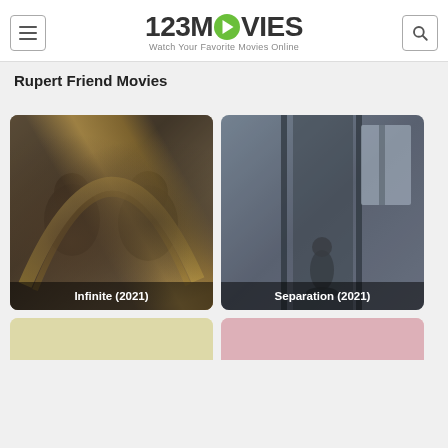123MOVIES - Watch Your Favorite Movies Online
Rupert Friend Movies
[Figure (photo): Movie poster thumbnail for Infinite (2021) showing two faces with a golden arc between them]
Infinite (2021)
[Figure (photo): Movie poster thumbnail for Separation (2021) showing a dim corridor with a figure]
Separation (2021)
[Figure (photo): Partial movie card with yellow/beige background, bottom of page]
[Figure (photo): Partial movie card with pink/rose background, bottom of page]